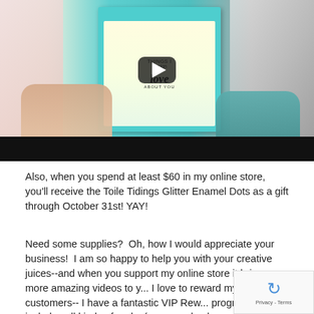[Figure (screenshot): Video thumbnail screenshot showing hands holding a teal greeting card with 'love about you' text and a YouTube play button overlay. A black progress/control bar is at the bottom of the video.]
Also, when you spend at least $60 in my online store, you'll receive the Toile Tidings Glitter Enamel Dots as a gift through October 31st! YAY!
Need some supplies?  Oh, how I would appreciate your business!  I am so happy to help you with your creative juices--and when you support my online store it brings more amazing videos to y... I love to reward my customers-- I have a fantastic VIP Rew... program for that includes all kinds of perks (you can check... out here!) and you can order from my online store by clicking on...